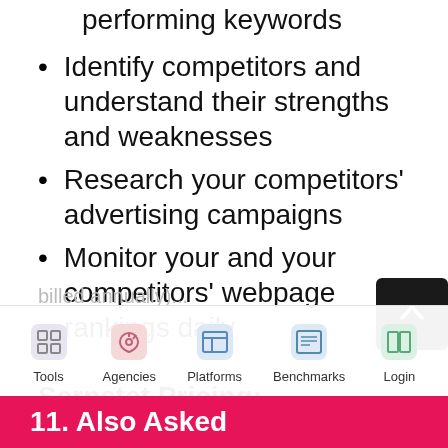performing keywords
Identify competitors and understand their strengths and weaknesses
Research your competitors' advertising campaigns
Monitor your and your competitors' webpage rankings daily
Serpstat Pricing:
Serpstat pricing starts at $55/month (when
billed annually)...
11. Also Asked